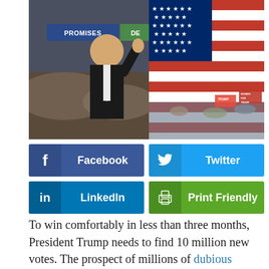[Figure (photo): Photo of President Trump waving at a campaign rally with a large crowd and an American flag banner in the background. A 'Promises Made' sign is visible.]
Facebook
Twitter
LinkedIn
Print Friendly
To win comfortably in less than three months, President Trump needs to find 10 million new votes. The prospect of millions of dubious mail-in ballots adds further pressure on Republicans